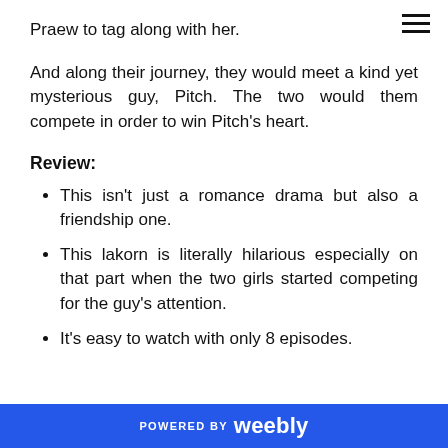Praew to tag along with her.
And along their journey, they would meet a kind yet mysterious guy, Pitch. The two would them compete in order to win Pitch's heart.
Review:
This isn't just a romance drama but also a friendship one.
This lakorn is literally hilarious especially on that part when the two girls started competing for the guy's attention.
It's easy to watch with only 8 episodes.
POWERED BY weebly